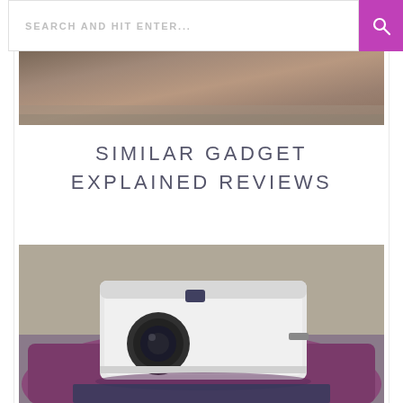SEARCH AND HIT ENTER...
[Figure (photo): Partially visible top banner image – appears to show a decorative or nature scene, cropped at the top]
SIMILAR GADGET EXPLAINED REVIEWS
[Figure (photo): A white portable projector sitting on a purple/pink cushion or pillow, photographed from a slightly elevated angle. The projector has a circular lens on the front and a small rectangular button on the side.]